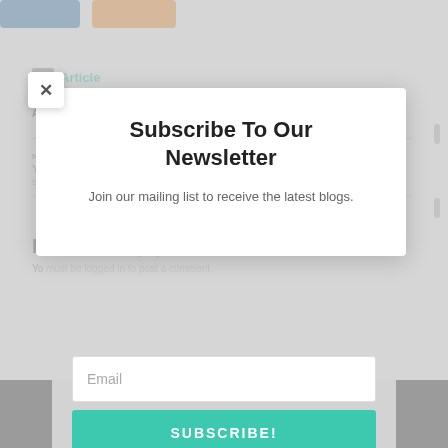[Figure (screenshot): Background page with social share buttons (blue and orange), Article label with folder icon, Previous Article and Next Article navigation sections, Leave a Reply section, all dimmed/blurred behind a modal overlay]
[Figure (infographic): Newsletter subscription modal popup with close (X) button, title 'Subscribe To Our Newsletter', subtitle text, email input field, and teal SUBSCRIBE! button]
Subscribe To Our Newsletter
Join our mailing list to receive the latest blogs.
Email
SUBSCRIBE!